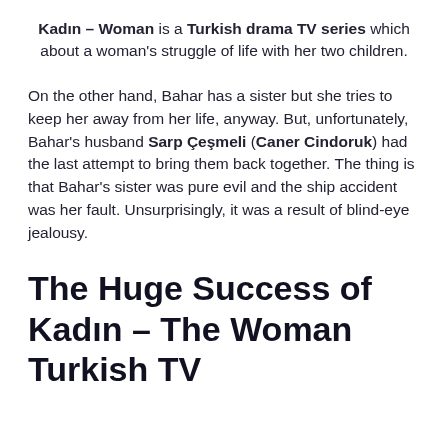Kadın – Woman is a Turkish drama TV series which about a woman's struggle of life with her two children.
On the other hand, Bahar has a sister but she tries to keep her away from her life, anyway. But, unfortunately, Bahar's husband Sarp Çeşmeli (Caner Cindoruk) had the last attempt to bring them back together. The thing is that Bahar's sister was pure evil and the ship accident was her fault. Unsurprisingly, it was a result of blind-eye jealousy.
The Huge Success of Kadın – The Woman Turkish TV